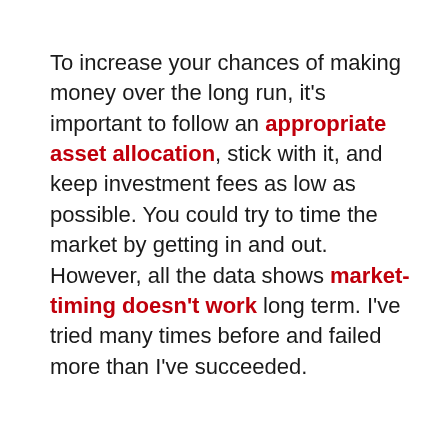To increase your chances of making money over the long run, it's important to follow an appropriate asset allocation, stick with it, and keep investment fees as low as possible. You could try to time the market by getting in and out. However, all the data shows market-timing doesn't work long term. I've tried many times before and failed more than I've succeeded.